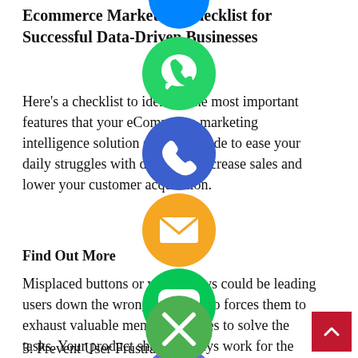Ecommerce Marketing Checklist for Successful Data-Driven Businesses
Here's a checklist to identify the most important features that your eCommerce marketing intelligence solution should include to ease your daily struggles with data, help increase sales and lower your customer acquisition.
Find Out More
Misplaced buttons or visual flows could be leading users down the wrong path. It also forces them to exhaust valuable mental resources to solve the tasks. Your product should always work for the people, not the other way around.
3. Prevent User Frustration
[Figure (illustration): Multiple social media / messaging app icons overlaid on the page content: WhatsApp (green), Phone/Viber (blue), Email (orange), LINE (green), Viber (purple), Close/X (green)]